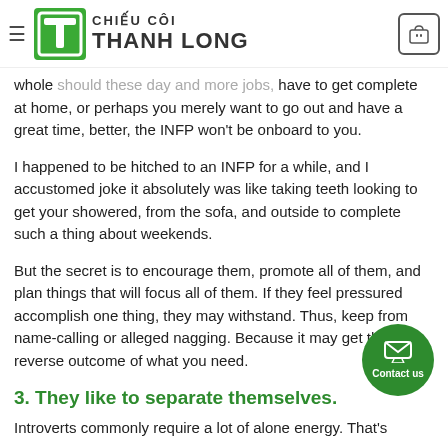CHIEU COI THANH LONG
whole ... should these day and more jobs, have to get complete at home, or perhaps you merely want to go out and have a great time, better, the INFP won't be onboard to you.
I happened to be hitched to an INFP for a while, and I accustomed joke it absolutely was like taking teeth looking to get your showered, from the sofa, and outside to complete such a thing about weekends.
But the secret is to encourage them, promote all of them, and plan things that will focus all of them. If they feel pressured accomplish one thing, they may withstand. Thus, keep from name-calling or alleged nagging. Because it may get the reverse outcome of what you need.
3. They like to separate themselves.
Introverts commonly require a lot of alone energy. That's